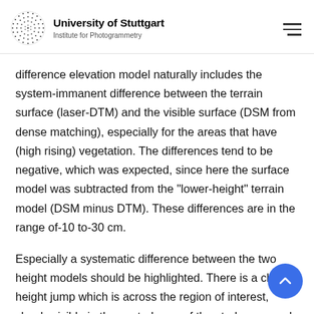University of Stuttgart — Institute for Photogrammetry
difference elevation model naturally includes the system-immanent difference between the terrain surface (laser-DTM) and the visible surface (DSM from dense matching), especially for the areas that have (high rising) vegetation. The differences tend to be negative, which was expected, since here the surface model was subtracted from the "lower-height" terrain model (DSM minus DTM). These differences are in the range of-10 to-30 cm.
Especially a systematic difference between the two height models should be highlighted. There is a clear height jump which is across the region of interest, clearly visible in the central area of the study area and also in the south-eastern area. This is due to residual systematics from the strip